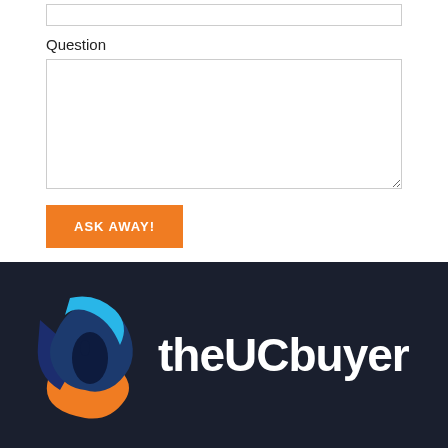Question
[Figure (screenshot): A web form with a text input at top (partially visible), a 'Question' label, a large textarea input box, and an orange 'ASK AWAY!' button below.]
[Figure (logo): theUCbuyer logo: stylized swirl icon in blue, dark blue, and orange on a dark navy background, with white text 'theUCbuyer' to the right.]